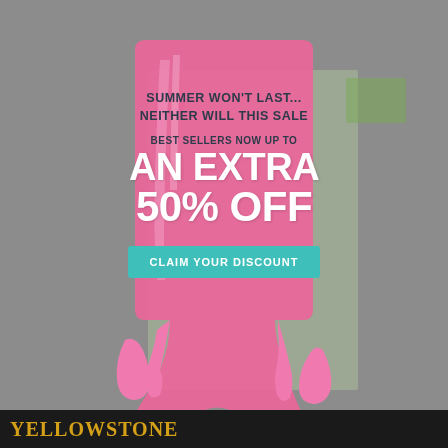[Figure (illustration): Advertisement popup shaped like a melting pink popsicle/ice cream bar with text overlay on a gray background. Behind the popup is a partially visible magazine cover. At the bottom is a dark strip with 'YELLOWSTONE' text in gold.]
SUMMER WON'T LAST...
NEITHER WILL THIS SALE
BEST SELLERS NOW UP TO
AN EXTRA
50% OFF
CLAIM YOUR DISCOUNT
YELLOWSTONE